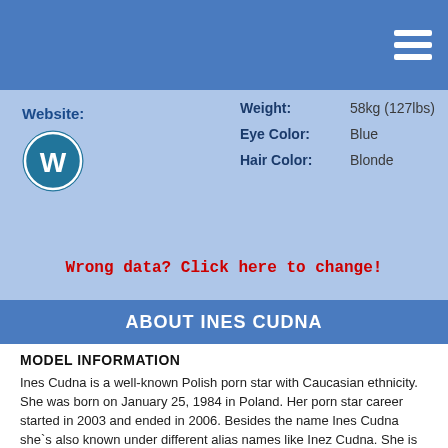Website:
[Figure (logo): WordPress logo icon (blue circle with white W)]
| Field | Value |
| --- | --- |
| Weight: | 58kg (127lbs) |
| Eye Color: | Blue |
| Hair Color: | Blonde |
Wrong data? Click here to change!
ABOUT INES CUDNA
MODEL INFORMATION
Ines Cudna is a well-known Polish porn star with Caucasian ethnicity. She was born on January 25, 1984 in Poland. Her porn star career started in 2003 and ended in 2006. Besides the name Ines Cudna she`s also known under different alias names like Inez Cudna. She is famous for her slim body with big natural tits, with a cup-size of 34F (75F). Her body measurements are 42F-26-36, her weight is 140lbs or 64 kg and she is 168 cm (5 ft 6 in)